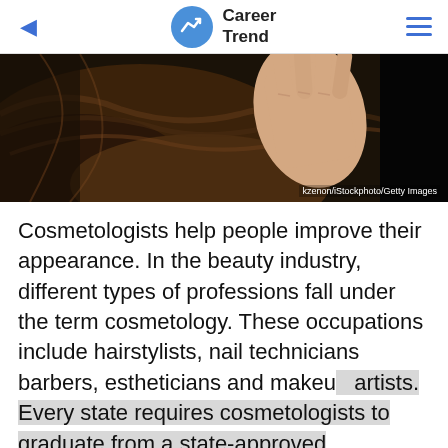Career Trend
[Figure (photo): Close-up of a hand styling dark brown hair, with a dark background. Credit: kzenon/iStockphoto/Getty Images]
Cosmetologists help people improve their appearance. In the beauty industry, different types of professions fall under the term cosmetology. These occupations include hairstylists, nail technicians barbers, estheticians and makeup artists. Every state requires cosmetologists to graduate from a state-approved cosmetology school as a prerequisite to obtain a cosmetology license.